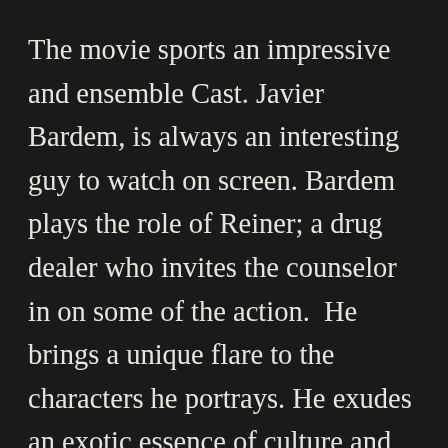The movie sports an impressive and ensemble Cast. Javier Bardem, is always an interesting guy to watch on screen. Bardem plays the role of Reiner; a drug dealer who invites the counselor in on some of the action.  He  brings a unique flare to the characters he portrays. He exudes an exotic essence of culture and his personality was one of the more memorable in the film. And he also manages to bring to the film what is becoming a signature attribute of his; his knack for having the wildest hair-dos. The most technically impressive acting which